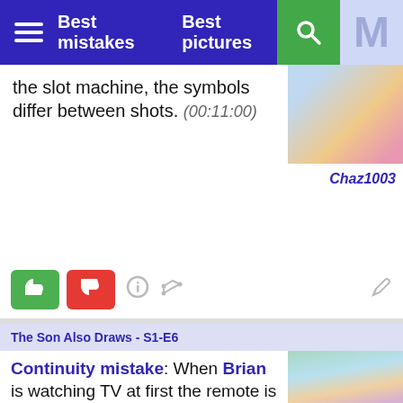Best mistakes   Best pictures
the slot machine, the symbols differ between shots. (00:11:00)
Chaz1003
The Son Also Draws - S1-E6
Continuity mistake: When Brian is watching TV at first the remote is on the right hand side